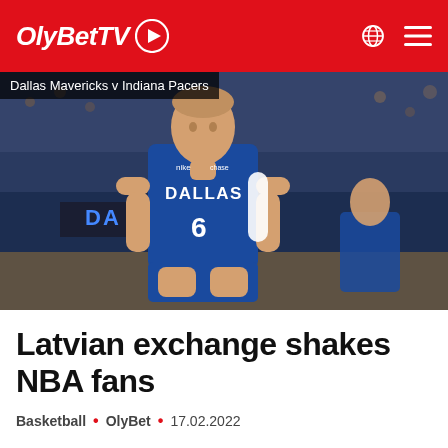OlyBetTV
[Figure (photo): Basketball player wearing Dallas Mavericks #6 blue jersey standing on court with hands on hips, another player visible in background. Caption overlay: Dallas Mavericks v Indiana Pacers]
Latvian exchange shakes NBA fans
Basketball • OlyBet • 17.02.2022